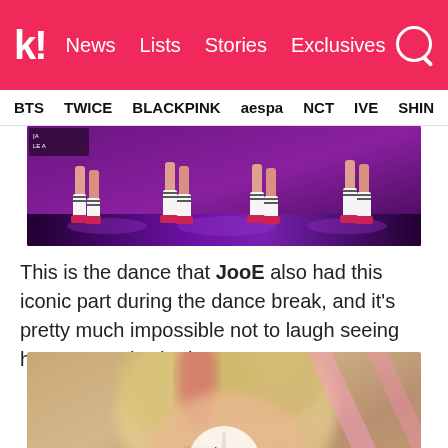k! News  Lists  Stories  Exclusives
BTS  TWICE  BLACKPINK  aespa  NCT  IVE  SHIN
[Figure (photo): Stage performance photo showing dancers' legs in white socks and pink/red shoes on a purple-lit stage]
This is the dance that JooE also had this iconic part during the dance break, and it's pretty much impossible not to laugh seeing how energetic she is!
[Figure (photo): Video thumbnail showing a blonde performer on stage with diagonal pink light bars, with a circular play button overlay]